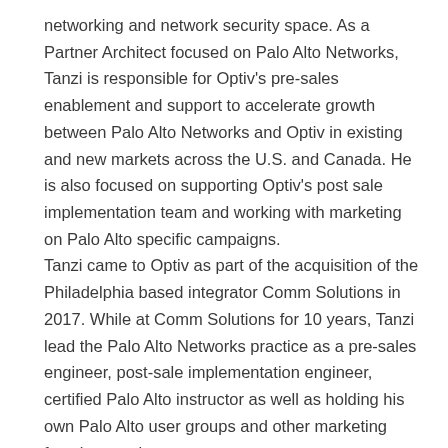networking and network security space. As a Partner Architect focused on Palo Alto Networks, Tanzi is responsible for Optiv's pre-sales enablement and support to accelerate growth between Palo Alto Networks and Optiv in existing and new markets across the U.S. and Canada. He is also focused on supporting Optiv's post sale implementation team and working with marketing on Palo Alto specific campaigns.
Tanzi came to Optiv as part of the acquisition of the Philadelphia based integrator Comm Solutions in 2017. While at Comm Solutions for 10 years, Tanzi lead the Palo Alto Networks practice as a pre-sales engineer, post-sale implementation engineer, certified Palo Alto instructor as well as holding his own Palo Alto user groups and other marketing functions and support.